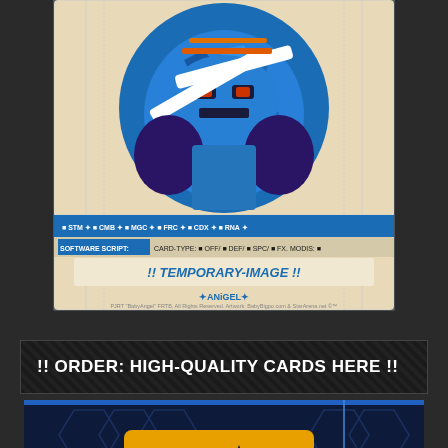[Figure (illustration): A trading card featuring a blue robotic/monster character with drum sticks, on a beige card template background. The card shows stat labels: STM, CMB, MGC, FRC, CDX, RNA. Software Script and card-type fields. Center reads '!! TEMPORARY-IMAGE !!' with Angel logo at bottom.]
!! ORDER: HIGH-QUALITY CARDS HERE !!
[Figure (photo): Partial view of a dark navy blue box with Star Arena logo (yellow text with star icon) and hexagonal pattern design.]